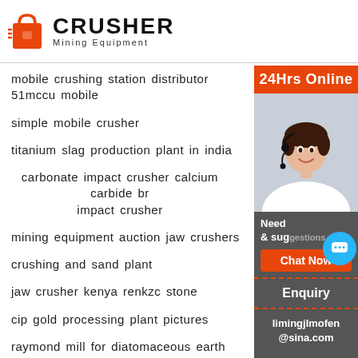[Figure (logo): Crusher Mining Equipment logo with red shopping bag icon and bold CRUSHER text]
mobile crushing station distributor 51mccu mobile
simple mobile crusher
titanium slag production plant in india
carbonate impact crusher calcium carbide br impact crusher
mining equipment auction jaw crushers
crushing and sand plant
jaw crusher kenya renkzc stone
cip gold processing plant pictures
raymond mill for diatomaceous earth
box hammer crusherhammer millhammer cru crusher
mercury mining process
[Figure (photo): 24Hrs Online sidebar with photo of woman with headset, Need & suggestions chat button, Enquiry button, limingjlmofen@sina.com email]